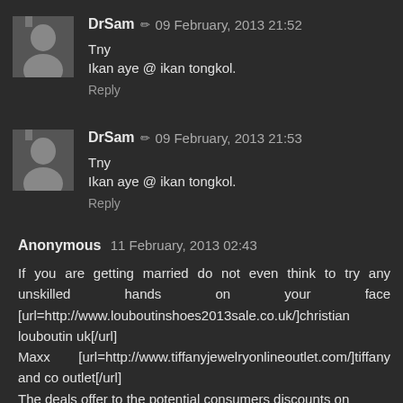[Figure (photo): Small grayscale avatar photo of DrSam, showing a man in white shirt]
DrSam ✏ 09 February, 2013 21:52
Tny
Ikan aye @ ikan tongkol.
Reply
[Figure (photo): Small grayscale avatar photo of DrSam, showing a man in white shirt]
DrSam ✏ 09 February, 2013 21:53
Tny
Ikan aye @ ikan tongkol.
Reply
Anonymous  11 February, 2013 02:43
If you are getting married do not even think to try any unskilled hands on your face [url=http://www.louboutinshoes2013sale.co.uk/]christian louboutin uk[/url]
Maxx  [url=http://www.tiffanyjewelryonlineoutlet.com/]tiffany and co outlet[/url]
The deals offer to the potential consumers discounts on